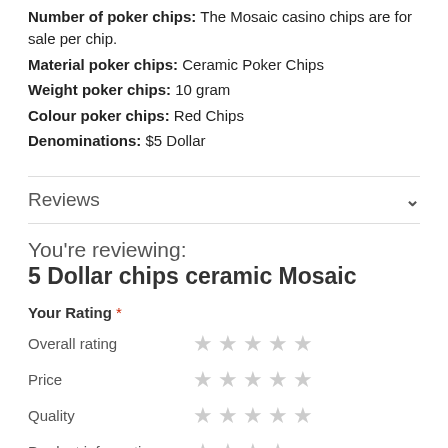Number of poker chips: The Mosaic casino chips are for sale per chip.
Material poker chips:  Ceramic Poker Chips
Weight poker chips:  10 gram
Colour poker chips:  Red Chips
Denominations:  $5 Dollar
Reviews
You're reviewing:
5 Dollar chips ceramic Mosaic
Your Rating *
Overall rating ★★★★★
Price ★★★★★
Quality ★★★★★
Product information ★★★★★